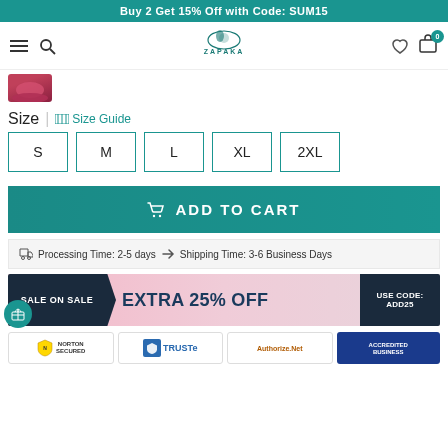Buy 2 Get 15% Off with Code: SUM15
[Figure (logo): Zapaka logo with text ZAPAKA]
[Figure (photo): Small thumbnail of a pink/red dress]
Size | Size Guide
S
M
L
XL
2XL
ADD TO CART
Processing Time: 2-5 days  Shipping Time: 3-6 Business Days
[Figure (infographic): Sale banner: SALE ON SALE EXTRA 25% OFF USE CODE: ADD25]
[Figure (infographic): Trust badges: Norton Secured, TRUSTe, Authorize.Net, BBB Accredited Business]